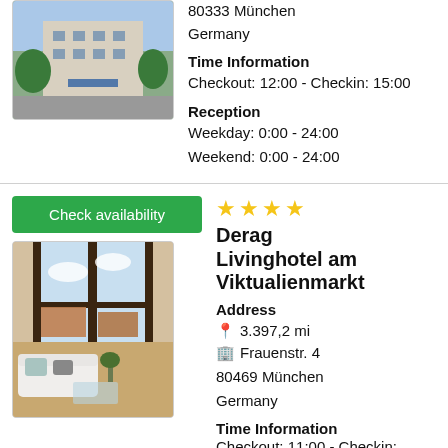[Figure (photo): Exterior view of a hotel building with trees in front]
80333 München
Germany
Time Information
Checkout: 12:00 - Checkin: 15:00
Reception
Weekday: 0:00 - 24:00
Weekend: 0:00 - 24:00
Check availability
★★★★ Derag Livinghotel am Viktualienmarkt
[Figure (photo): Interior room with large windows, white sofa and view of city rooftops]
Address
3.397,2 mi
Frauenstr. 4
80469 München
Germany
Time Information
Checkout: 11:00 - Checkin: 15:00
Reception